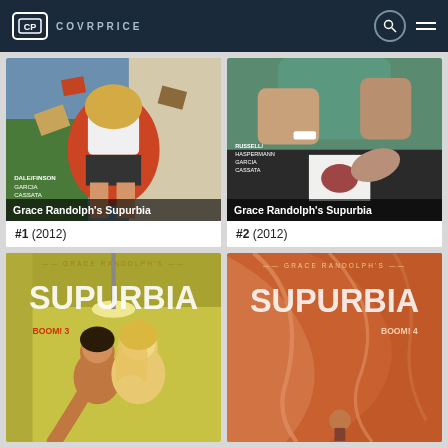COVRPRICE
[Figure (screenshot): Comic book cover for Grace Randolph's Supurbia #1 (2012) showing a female character with books flying around]
Grace Randolph's Supurbia
#1 (2012)
[Figure (screenshot): Comic book cover for Grace Randolph's Supurbia #2 (2012) showing hands and medical scene]
Grace Randolph's Supurbia
#2 (2012)
[Figure (screenshot): Comic book cover for Grace Randolph's Supurbia #3 showing two characters facing each other with yellow/green background and SUPURBIA text]
[Figure (screenshot): Comic book cover for Grace Randolph's Supurbia #4 showing a figure with flowing cloth on warm orange-red background and SUPURBIA text]